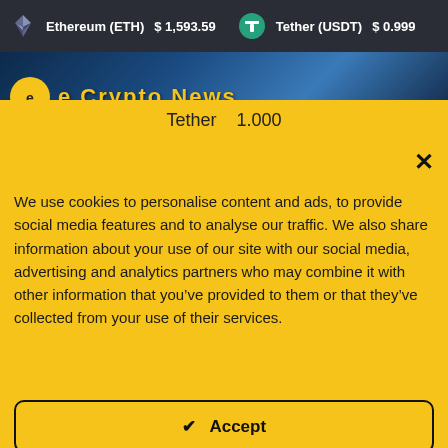Ethereum (ETH) $1,593.59   Tether (USDT) $0.999
[Figure (screenshot): Crypto news banner with logo and 'e Crypto News' text on dark blue background]
Tether   1.000
We use cookies to personalise content and ads, to provide social media features and to analyse our traffic. We also share information about your use of our site with our social media, advertising and analytics partners who may combine it with other information that you’ve provided to them or that they’ve collected from your use of their services.
✔  Accept
Read more  →
Change Settings  ⚙